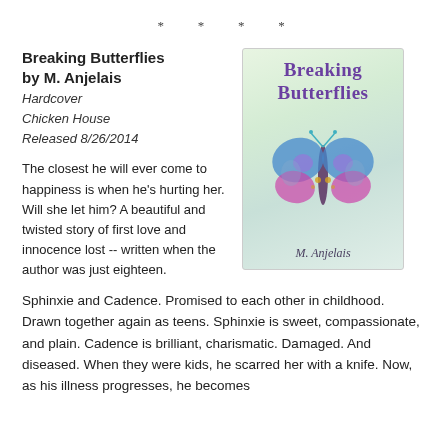* * * *
Breaking Butterflies
by M. Anjelais
Hardcover
Chicken House
Released 8/26/2014
The closest he will ever come to happiness is when he's hurting her. Will she let him? A beautiful and twisted story of first love and innocence lost -- written when the author was just eighteen.
[Figure (illustration): Book cover of Breaking Butterflies by M. Anjelais showing a colorful butterfly made of two female silhouettes with blue and purple wings against a light green background, title in purple text, author name at bottom]
Sphinxie and Cadence. Promised to each other in childhood. Drawn together again as teens. Sphinxie is sweet, compassionate, and plain. Cadence is brilliant, charismatic. Damaged. And diseased. When they were kids, he scarred her with a knife. Now, as his illness progresses, he becomes